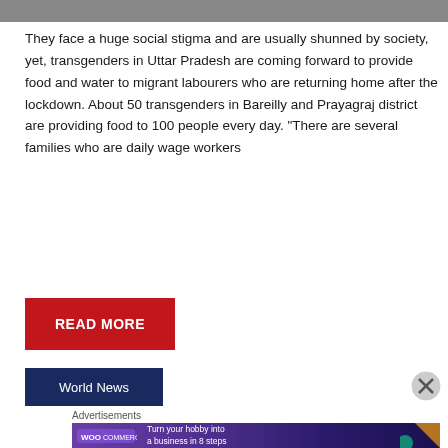[Figure (photo): Partial image strip at top of page]
They face a huge social stigma and are usually shunned by society, yet, transgenders in Uttar Pradesh are coming forward to provide food and water to migrant labourers who are returning home after the lockdown. About 50 transgenders in Bareilly and Prayagraj district are providing food to 100 people every day. “There are several families who are daily wage workers
READ MORE
World News
Advertisements
[Figure (illustration): WooCommerce advertisement banner: Turn your hobby into a business in 8 steps]